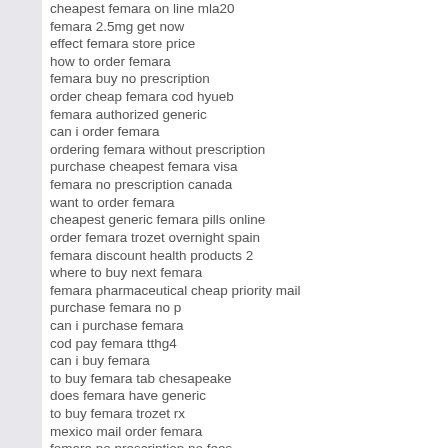cheapest femara on line mla20
femara 2.5mg get now
effect femara store price
how to order femara
femara buy no prescription
order cheap femara cod hyueb
femara authorized generic
can i order femara
ordering femara without prescription
purchase cheapest femara visa
femara no prescription canada
want to order femara
cheapest generic femara pills online
order femara trozet overnight spain
femara discount health products 2
where to buy next femara
femara pharmaceutical cheap priority mail
purchase femara no p
can i purchase femara
cod pay femara tthg4
can i buy femara
to buy femara tab chesapeake
does femara have generic
to buy femara trozet rx
mexico mail order femara
femara no prescription no fees